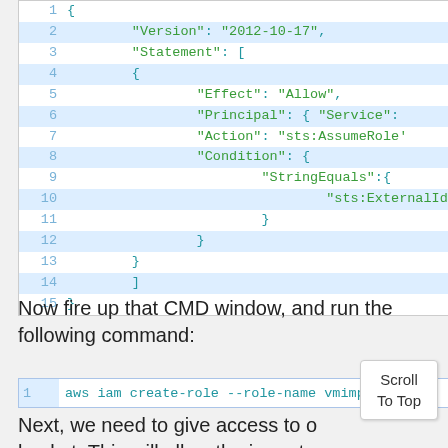[Figure (screenshot): Code block showing a JSON IAM trust policy with line numbers 1-15. Lines are alternately white and light blue. Line numbers are in light blue, code text in teal/green.]
Now fire up that CMD window, and run the following command:
[Figure (screenshot): Single-line code block showing: 1  aws iam create-role --role-name vmimp...]
Next, we need to give access to o... bucket.  This will allow the import